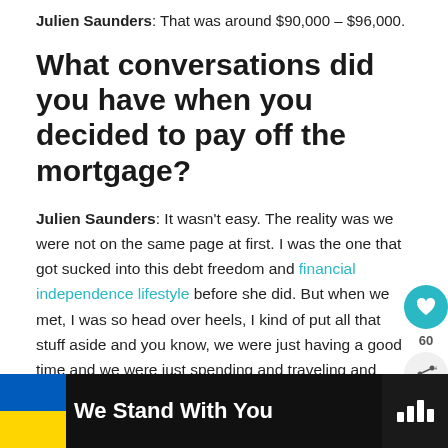Julien Saunders: That was around $90,000 – $96,000.
What conversations did you have when you decided to pay off the mortgage?
Julien Saunders: It wasn't easy. The reality was we were not on the same page at first. I was the one that got sucked into this debt freedom and financial independence lifestyle before she did. But when we met, I was so head over heels, I kind of put all that stuff aside and you know, we were just having a good time and we were just spending and traveling and having fun.
[Figure (other): UI overlay: heart/like button (teal circle with heart icon) and share button, with count '60' below heart button]
[Figure (other): Advertisement banner: dark background, Ukrainian flag (blue and yellow), text 'We Stand With You', close button, and logo with bar chart icon]